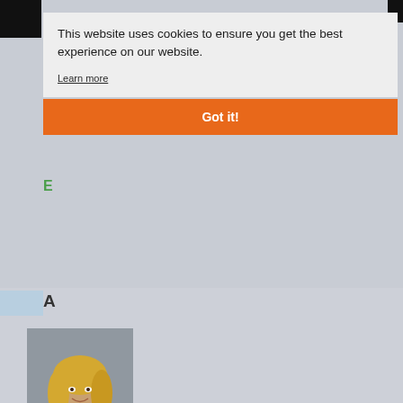[Figure (screenshot): Screenshot of a website with a cookie consent overlay dialog. The overlay shows text 'This website uses cookies to ensure you get the best experience on our website.' with a 'Learn more' link and an orange 'Got it!' button. Behind the overlay is a partially visible profile page showing a blonde woman's photo, a LinkedIn icon, and text 'Lucy graduated in law from the University of Greenwich, and is'. There is also a video player overlay with a close X button visible.]
This website uses cookies to ensure you get the best experience on our website.
Learn more
Got it!
Lucy graduated in law from the University of Greenwich, and is
No compatible source was found for this media.